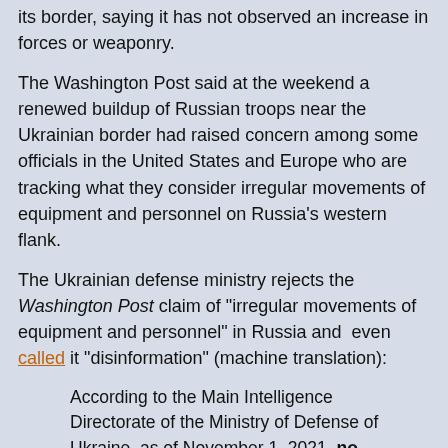its border, saying it has not observed an increase in forces or weaponry.
The Washington Post said at the weekend a renewed buildup of Russian troops near the Ukrainian border had raised concern among some officials in the United States and Europe who are tracking what they consider irregular movements of equipment and personnel on Russia's western flank.
The Ukrainian defense ministry rejects the Washington Post claim of "irregular movements of equipment and personnel" in Russia and even called it "disinformation" (machine translation):
According to the Main Intelligence Directorate of the Ministry of Defense of Ukraine, as of November 1, 2021, no additional transfer of Russian units, weapons and military equipment to the state border with Ukraine has been recorded.
It is most probable that the facts published in the media and on the Internet about the increase of groups of the Russian Armed Forces in the Ukrainian direction are an element of special informational and psychological actions, and are essentially